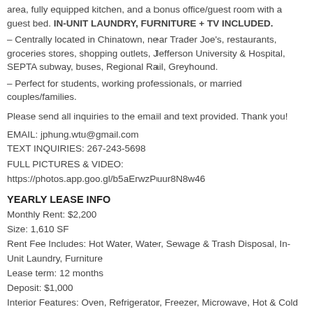area, fully equipped kitchen, and a bonus office/guest room with a guest bed. IN-UNIT LAUNDRY, FURNITURE + TV INCLUDED.
– Centrally located in Chinatown, near Trader Joe's, restaurants, groceries stores, shopping outlets, Jefferson University & Hospital, SEPTA subway, buses, Regional Rail, Greyhound.
– Perfect for students, working professionals, or married couples/families.
Please send all inquiries to the email and text provided. Thank you!
EMAIL: jphung.wtu@gmail.com
TEXT INQUIRIES: 267-243-5698
FULL PICTURES & VIDEO:
https://photos.app.goo.gl/b5aErwzPuur8N8w46
YEARLY LEASE INFO
Monthly Rent: $2,200
Size: 1,610 SF
Rent Fee Includes: Hot Water, Water, Sewage & Trash Disposal, In-Unit Laundry, Furniture
Lease term: 12 months
Deposit: $1,000
Interior Features: Oven, Refrigerator, Freezer, Microwave, Hot & Cold Filtered Water Dispenser, TV, Washer & Dryer, Intercom, Electronic